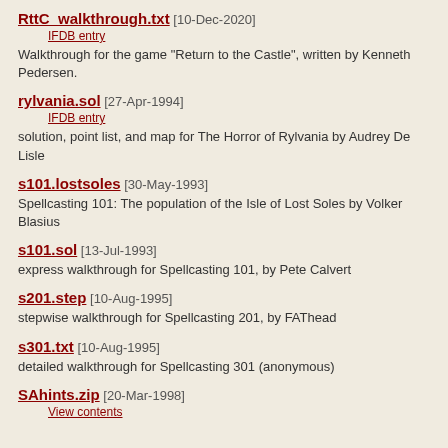RttC_walkthrough.txt [10-Dec-2020]
  IFDB entry
  Walkthrough for the game "Return to the Castle", written by Kenneth Pedersen.
rylvania.sol [27-Apr-1994]
  IFDB entry
  solution, point list, and map for The Horror of Rylvania by Audrey De Lisle
s101.lostsoles [30-May-1993]
  Spellcasting 101: The population of the Isle of Lost Soles by Volker Blasius
s101.sol [13-Jul-1993]
  express walkthrough for Spellcasting 101, by Pete Calvert
s201.step [10-Aug-1995]
  stepwise walkthrough for Spellcasting 201, by FAThead
s301.txt [10-Aug-1995]
  detailed walkthrough for Spellcasting 301 (anonymous)
SAhints.zip [20-Mar-1998]
  View contents